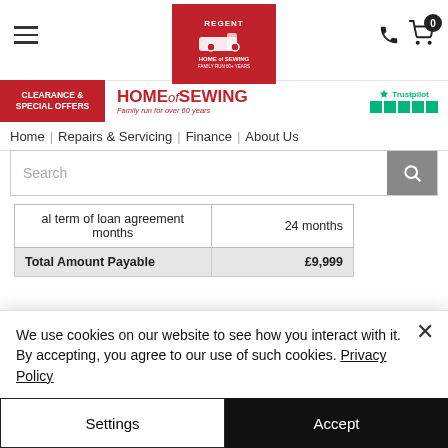Regent Home of Sewing — navigation header with logo, cart, search
| al term of loan agreement months | 24 months |
| Total Amount Payable | £9,999 |
Regent Sewing & Knitting Machines LTD
We use cookies on our website to see how you interact with it. By accepting, you agree to our use of such cookies. Privacy Policy
Settings
Accept